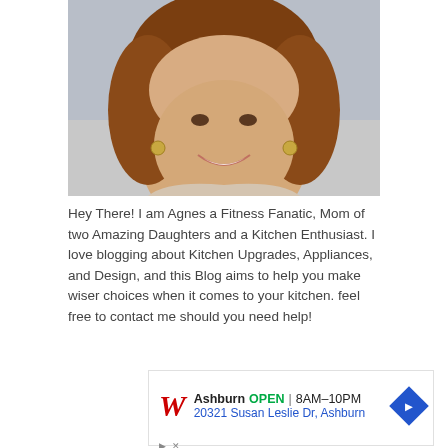[Figure (photo): Headshot of a smiling woman with auburn/brown hair, wearing hoop earrings, light patterned top, photographed against a light background.]
Hey There! I am Agnes a Fitness Fanatic, Mom of two Amazing Daughters and a Kitchen Enthusiast. I love blogging about Kitchen Upgrades, Appliances, and Design, and this Blog aims to help you make wiser choices when it comes to your kitchen. feel free to contact me should you need help!
[Figure (screenshot): Walgreens advertisement showing Ashburn location, OPEN 8AM-10PM, address 20321 Susan Leslie Dr, Ashburn, with navigation icon.]